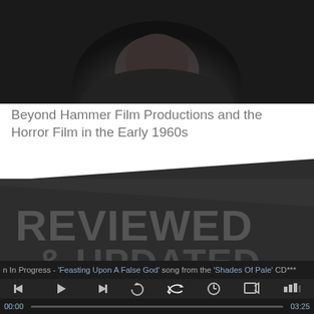[Figure (photo): Dark atmospheric photo showing top of a person's head/face against dark background, cropped at top of page]
Beyond Hammer Film Productions and the Horror Film in the Early 1960s
[Figure (screenshot): Music player interface with dark background showing 'REVIEWED & UPDATED' text overlay, a photo of a woman with dark hair against a brick wall, a marquee ticker showing song info, and playback controls with progress bar]
n In Progress - 'Feasting Upon A False God' song from the 'Shades Of Pale' CD***